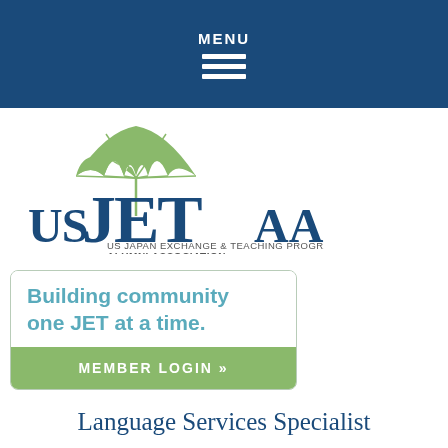MENU
[Figure (logo): USJETAA logo with green umbrella icon above stylized text 'USJETAA' and subtitle 'US JAPAN EXCHANGE & TEACHING PROGRAMME ALUMNI ASSOCIATION']
Building community one JET at a time.
MEMBER LOGIN »
Language Services Specialist